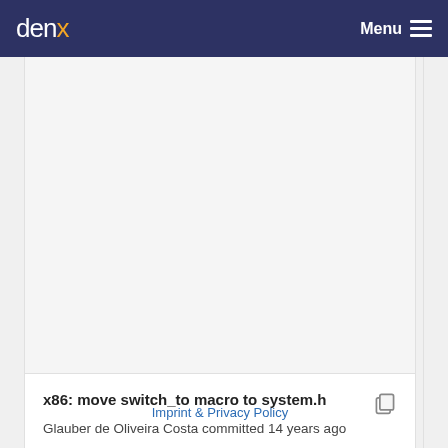denx  Menu
[Figure (other): Gray empty content region, likely a screenshot or code view area that is blank/scrolled]
x86: move switch_to macro to system.h
Glauber de Oliveira Costa committed 14 years ago
Imprint & Privacy Policy